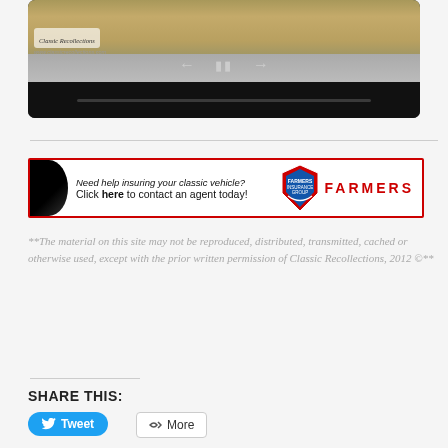[Figure (screenshot): Video player showing classic car, partially visible at top. Black player bar with playback controls (back arrow, pause, forward arrow). Classic Recollections watermark visible.]
[Figure (other): Farmers Insurance Group advertisement banner. Text: 'Need help insuring your classic vehicle? Click here to contact an agent today!' with Farmers Insurance Group shield logo and FARMERS text in red.]
**The material on this site may not be reproduced, distributed, transmitted, cached or otherwise used, except with the prior written permission of Classic Recollections, 2012 ©**
SHARE THIS:
Tweet
More